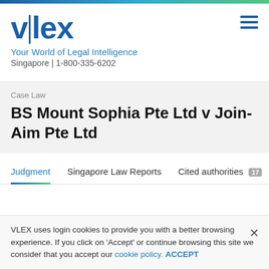[Figure (logo): vlex logo with vertical pipe between v and lex, in dark blue]
Your World of Legal Intelligence
Singapore | 1-800-335-6202
Case Law
BS Mount Sophia Pte Ltd v Join-Aim Pte Ltd
Judgment	Singapore Law Reports	Cited authorities 17
VLEX uses login cookies to provide you with a better browsing experience. If you click on 'Accept' or continue browsing this site we consider that you accept our cookie policy. ACCEPT